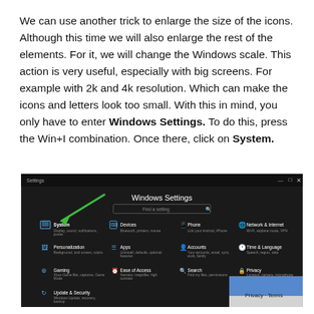We can use another trick to enlarge the size of the icons. Although this time we will also enlarge the rest of the elements. For it, we will change the Windows scale. This action is very useful, especially with big screens. For example with 2k and 4k resolution. Which can make the icons and letters look too small. With this in mind, you only have to enter Windows Settings. To do this, press the Win+I combination. Once there, click on System.
[Figure (screenshot): Screenshot of Windows Settings app showing a dark-themed settings panel with categories: System (highlighted with green arrow), Devices, Phone, Network & Internet, Personalization, Apps, Accounts, Time & Language, Gaming, Ease of Access, Search, Privacy, Update & Security. Search bar at top center reads 'Find a setting'.]